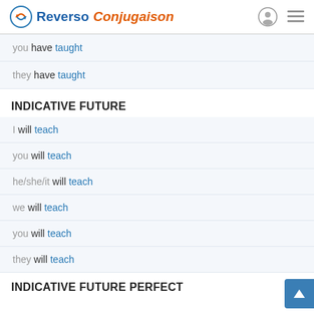Reverso Conjugaison
you have taught
they have taught
INDICATIVE FUTURE
I will teach
you will teach
he/she/it will teach
we will teach
you will teach
they will teach
INDICATIVE FUTURE PERFECT